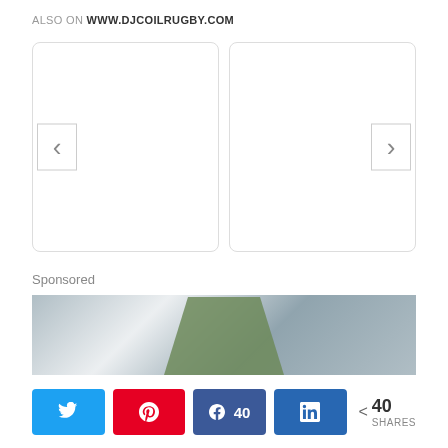ALSO ON WWW.DJCOILRUGBY.COM
[Figure (other): Carousel widget with two card panels and left/right navigation chevron buttons]
Sponsored
[Figure (photo): A person in military/camouflage uniform appearing to climb or reach near a white tiled wall]
40 SHARES — social share buttons: Twitter, Pinterest, Facebook (40), LinkedIn